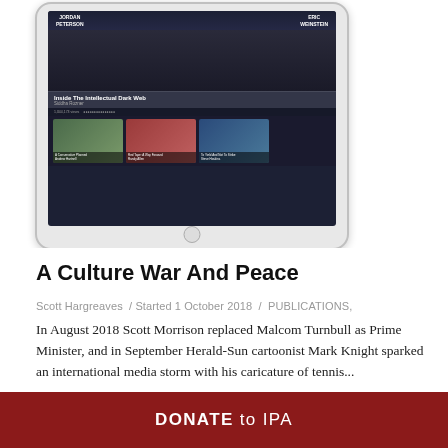[Figure (screenshot): Screenshot of a tablet (iPad) showing a digital publication interface with the headline 'Inside The Intellectual Dark Web' by Siddha Rozner, featuring Jordan Peterson and Eric Weinstein, with three article thumbnail images below.]
A Culture War And Peace
Scott Hargreaves  /  Started 1 October 2018  /  PUBLICATIONS,
In August 2018 Scott Morrison replaced Malcom Turnbull as Prime Minister, and in September Herald-Sun cartoonist Mark Knight sparked an international media storm with his caricature of tennis...
[Figure (photo): Partial photo visible at bottom of page, appears to show architectural columns or building exterior.]
DONATE to IPA